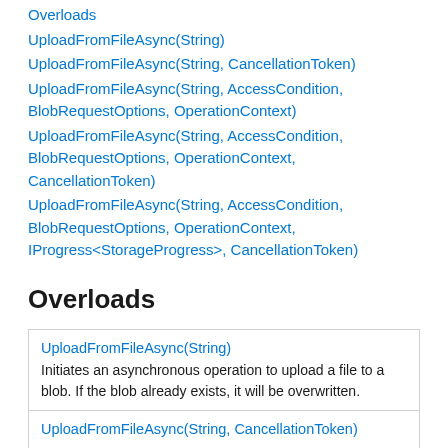Overloads
UploadFromFileAsync(String)
UploadFromFileAsync(String, CancellationToken)
UploadFromFileAsync(String, AccessCondition, BlobRequestOptions, OperationContext)
UploadFromFileAsync(String, AccessCondition, BlobRequestOptions, OperationContext, CancellationToken)
UploadFromFileAsync(String, AccessCondition, BlobRequestOptions, OperationContext, IProgress<StorageProgress>, CancellationToken)
Overloads
| Method | Description |
| --- | --- |
| UploadFromFileAsync(String) | Initiates an asynchronous operation to upload a file to a blob. If the blob already exists, it will be overwritten. |
| UploadFromFileAsync(String, CancellationToken) |  |